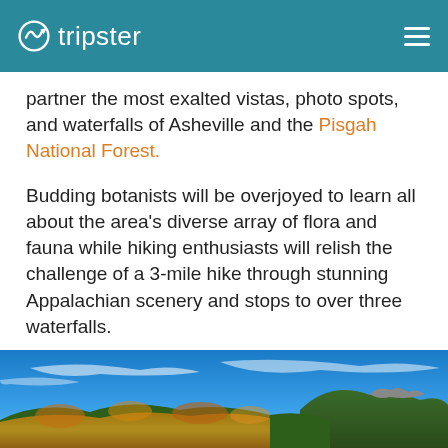tripster
partner the most exalted vistas, photo spots, and waterfalls of Asheville and the Pisgah National Forest.
Budding botanists will be overjoyed to learn all about the area’s diverse array of flora and fauna while hiking enthusiasts will relish the challenge of a 3-mile hike through stunning Appalachian scenery and stops to over three waterfalls.
[Figure (photo): Panoramic photo of Appalachian mountain scenery with bright blue sky, wispy clouds, and forested mountains with autumn foliage in oranges and yellows.]